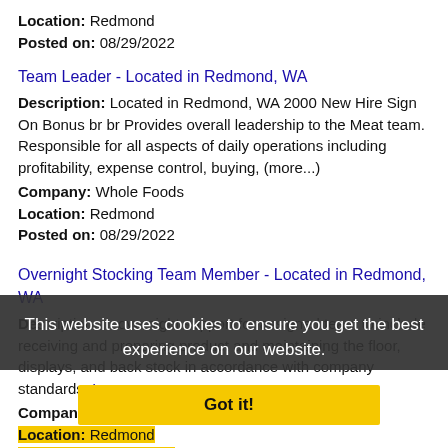Location: Redmond
Posted on: 08/29/2022
Team Leader - Located in Redmond, WA
Description: Located in Redmond, WA 2000 New Hire Sign On Bonus br br Provides overall leadership to the Meat team. Responsible for all aspects of daily operations including profitability, expense control, buying, (more...)
Company: Whole Foods
Location: Redmond
Posted on: 08/29/2022
Overnight Stocking Team Member - Located in Redmond, WA
Description: ... overnight support for assigned team to include receiving and preparing product and maintaining the floor, displays, and back stock in accordance with company standards.
Company: Whole Foods
Location: Redmond
Posted on: 08/29/2022
This website uses cookies to ensure you get the best experience on our website. Learn more
Got it!
Production Engineering Manager
Description: Job DescriptionAt Boeing, we innovate and